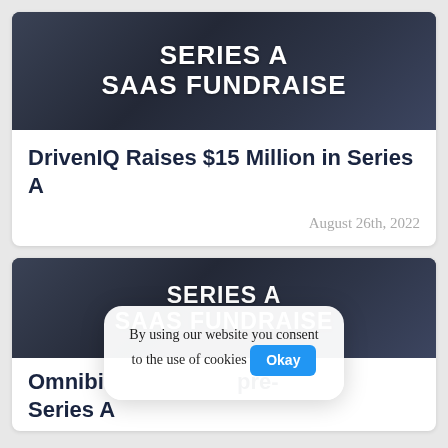[Figure (illustration): Dark city skyline background banner with white bold text reading SERIES A SAAS FUNDRAISE]
DrivenIQ Raises $15 Million in Series A
August 26th, 2022
[Figure (illustration): Dark city skyline background banner with white bold text reading SERIES A SAAS FUNDRAISE]
Omnibi... pre- Series A
By using our website you consent to the use of cookies Okay